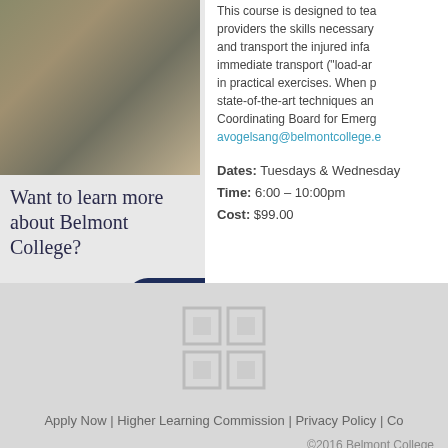[Figure (photo): Outdoor photo showing concrete or stone pavement/steps with dappled light]
Want to learn more about Belmont College?
REQUEST INFO   APPLY NOW
This course is designed to teach providers the skills necessary and transport the injured immediate transport ("load-ar in practical exercises. When state-of-the-art techniques an Coordinating Board for Emerg avogelsang@belmontcollege.e
Dates:  Tuesdays & Wednesday Time:  6:00 – 10:00pm Cost:  $99.00
[Figure (logo): Belmont College logo mark — white grid/window pattern on grey background]
Apply Now | Higher Learning Commission | Privacy Policy | Co
©2016 Belmont College